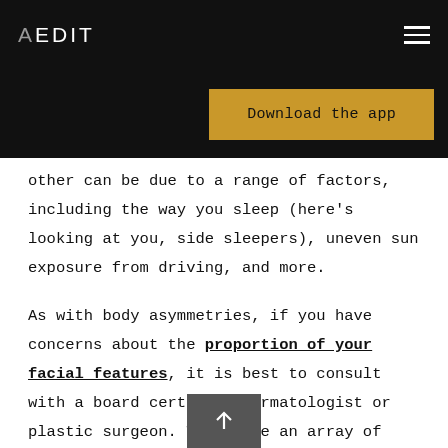AEDIT
Download the app
other can be due to a range of factors, including the way you sleep (here's looking at you, side sleepers), uneven sun exposure from driving, and more.
As with body asymmetries, if you have concerns about the proportion of your facial features, it is best to consult with a board certified dermatologist or plastic surgeon. There are an array of surgical and non-surgical treatment options that will be able to address the overall